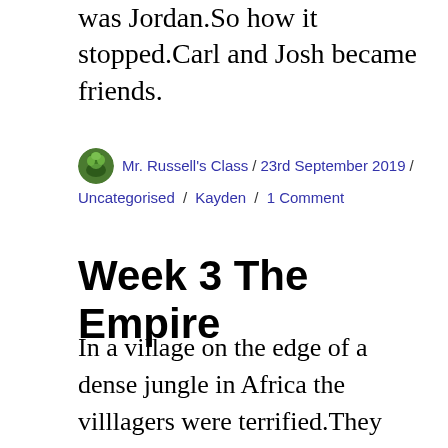was Jordan.So how it stopped.Carl and Josh became friends.
Mr. Russell's Class / 23rd September 2019 / Uncategorised / Kayden / 1 Comment
Week 3 The Empire
In a village on the edge of a dense jungle in Africa the villlagers were terrified.They were terrified that the soldiers of the British Empire would come back and kill them.They were desparate. But they had warned them.In the thick jungle the soldiers were creeping up on